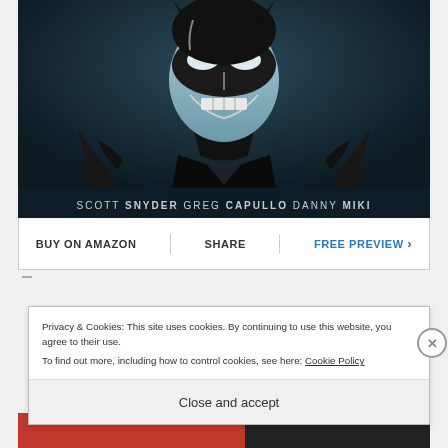[Figure (illustration): Comic book cover artwork showing a dark figure (Batman villain) in black costume with mask, grinning expression, in a dark blue/teal atmospheric setting. Text at bottom reads: SCOTT SNYDER GREG CAPULLO DANNY MIKI]
BUY ON AMAZON | SHARE | FREE PREVIEW ›
Privacy & Cookies: This site uses cookies. By continuing to use this website, you agree to their use.
To find out more, including how to control cookies, see here: Cookie Policy
Close and accept